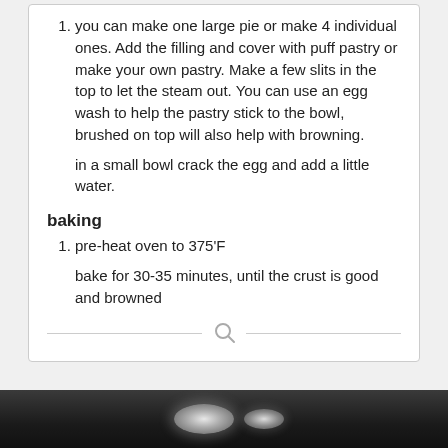you can make one large pie or make 4 individual ones. Add the filling and cover with puff pastry or make your own pastry. Make a few slits in the top to let the steam out. You can use an egg wash to help the pastry stick to the bowl, brushed on top will also help with browning.
in a small bowl crack the egg and add a little water.
baking
pre-heat oven to 375'F
bake for 30-35 minutes, until the crust is good and browned
[Figure (photo): Dark photo of a bowl or pie dish, partially visible at the bottom of the page]